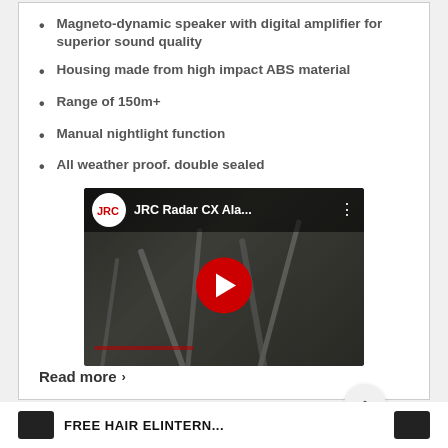Magneto-dynamic speaker with digital amplifier for superior sound quality
Housing made from high impact ABS material
Range of 150m+
Manual nightlight function
All weather proof. double sealed
[Figure (screenshot): YouTube video thumbnail for JRC Radar CX Ala... with JRC logo, dark background showing rods/bars, and red play button in center]
Read more ›